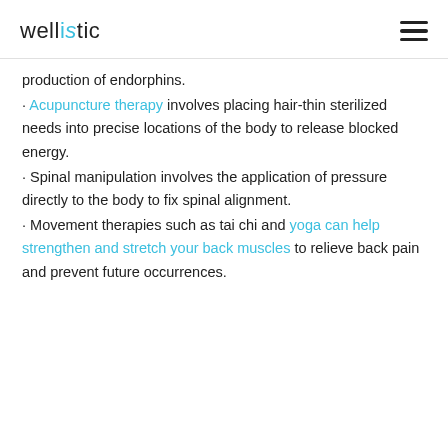wellistic
production of endorphins.
· Acupuncture therapy involves placing hair-thin sterilized needs into precise locations of the body to release blocked energy.
· Spinal manipulation involves the application of pressure directly to the body to fix spinal alignment.
· Movement therapies such as tai chi and yoga can help strengthen and stretch your back muscles to relieve back pain and prevent future occurrences.